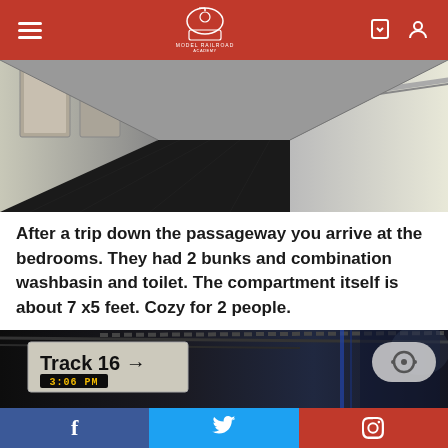Model Railroad Academy
[Figure (photo): Interior view of a narrow train corridor/passageway with dark tiled floor, white walls, and a metal handrail on the right side leading towards sleeping berths.]
After a trip down the passageway you arrive at the bedrooms. They had 2 bunks and combination washbasin and toilet. The compartment itself is about 7 x5 feet. Cozy for 2 people.
[Figure (photo): Dark train station interior showing a Track 16 sign with an arrow and an LED display reading 3:06 PM, with cables and a blue curtained area visible.]
f  t  p